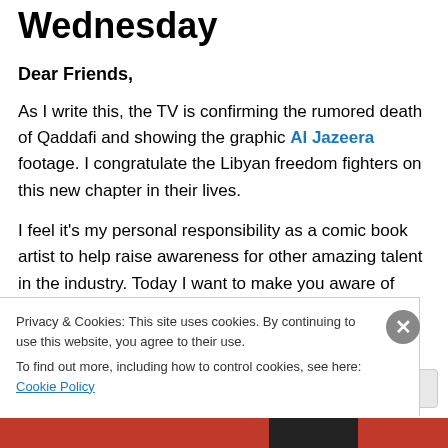Wednesday
Dear Friends,
As I write this, the TV is confirming the rumored death of Qaddafi and showing the graphic Al Jazeera footage. I congratulate the Libyan freedom fighters on this new chapter in their lives.
I feel it's my personal responsibility as a comic book artist to help raise awareness for other amazing talent in the industry. Today I want to make you aware of Leinil Yu if
Privacy & Cookies: This site uses cookies. By continuing to use this website, you agree to their use.
To find out more, including how to control cookies, see here: Cookie Policy